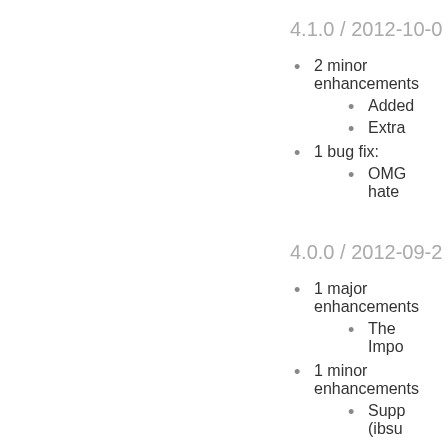4.1.0 / 2012-10-0
2 minor enhancements
Added
Extra
1 bug fix:
OMG hate
4.0.0 / 2012-09-2
1 major enhancements
The Impo
1 minor enhancements
Supp (ibsu